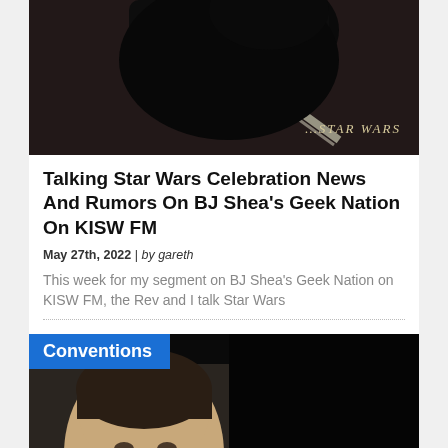[Figure (photo): Star Wars themed image with dark silhouettes on a dark background, with 'STAR WARS' text logo in golden italic letters at the bottom right]
Talking Star Wars Celebration News And Rumors On BJ Shea's Geek Nation On KISW FM
May 27th, 2022 | by gareth
This week for my segment on BJ Shea's Geek Nation on KISW FM, the Rev and I talk Star Wars
[Figure (photo): Bottom image showing a man's face on the left side and a Star Wars Skeleton Crew logo on the right, with a 'Conventions' blue badge overlay in the top left]